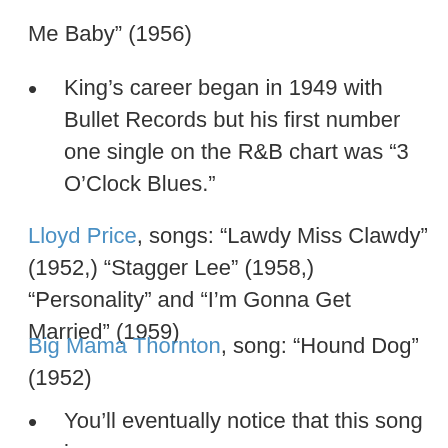Me Baby” (1956)
King’s career began in 1949 with Bullet Records but his first number one single on the R&B chart was “3 O’Clock Blues.”
Lloyd Price, songs: “Lawdy Miss Clawdy” (1952,) “Stagger Lee” (1958,) “Personality” and “I’m Gonna Get Married” (1959)
Big Mama Thornton, song: “Hound Dog” (1952)
You’ll eventually notice that this song is